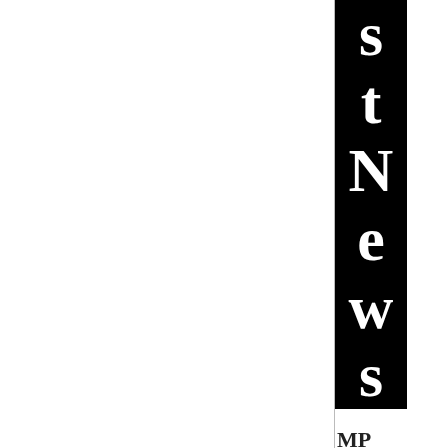[Figure (logo): Vertical text logo reading 'stNews' in large white serif letters on black background, followed by text 'MPOCASH adalah situ s' in black serif letters below]
MP OC AS H ada lah situ s